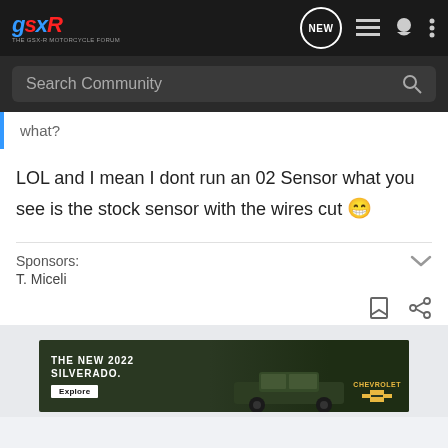GSXR - The GSX-R Motorcycle Forum
Search Community
what?
LOL and I mean I dont run an 02 Sensor what you see is the stock sensor with the wires cut 😁
Sponsors:
T. Miceli
[Figure (advertisement): Chevrolet ad for The New 2022 Silverado with Explore button and vehicle image]